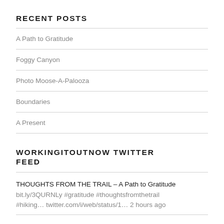RECENT POSTS
A Path to Gratitude
Foggy Canyon
Photo Moose-A-Palooza
Boundaries
A Present
WORKINGITOUTNOW TWITTER FEED
THOUGHTS FROM THE TRAIL – A Path to Gratitude bit.ly/3QURNLy #gratitude #thoughtsfromthetrail #hiking… twitter.com/i/web/status/1… 2 hours ago
Sometimes we seek unfulfilling pathways to gain